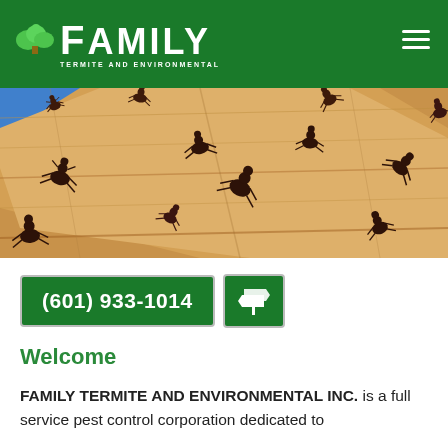FAMILY TERMITE AND ENVIRONMENTAL (logo header with navigation)
[Figure (photo): Close-up photograph of many fire ants crawling on a piece of light-colored wood, with a blue sky visible in the top-left corner. The ants appear reddish-brown against the pale wood grain.]
(601) 933-1014
Welcome
FAMILY TERMITE AND ENVIRONMENTAL INC. is a full service pest control corporation dedicated to